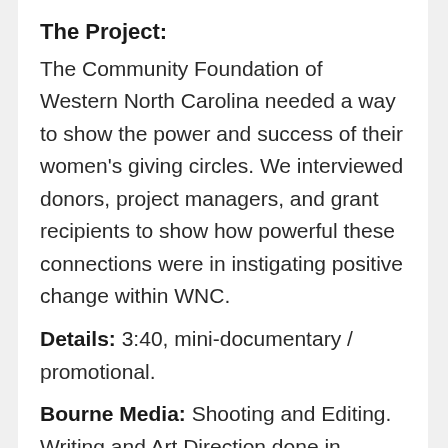The Project:
The Community Foundation of Western North Carolina needed a way to show the power and success of their women's giving circles. We interviewed donors, project managers, and grant recipients to show how powerful these connections were in instigating positive change within WNC.
Details: 3:40, mini-documentary / promotional.
Bourne Media: Shooting and Editing. Writing and Art Direction done in conjunction with Robert Klein and CFWNC.
Distribution: Presented to an audience of over 700 at the Grove Park Inn, Internet...